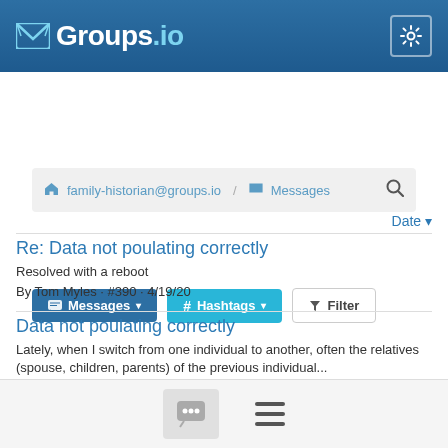Groups.io
family-historian@groups.io / Messages
Messages ▾  # Hashtags ▾  Filter
Date ▾
Re: Data not poulating correctly
Resolved with a reboot
By Tom Myles · #390 · 4/19/20
Data not poulating correctly
Lately, when I switch from one individual to another, often the relatives (spouse, children, parents) of the previous individual...
By Tom Myles · #389 · 4/19/20